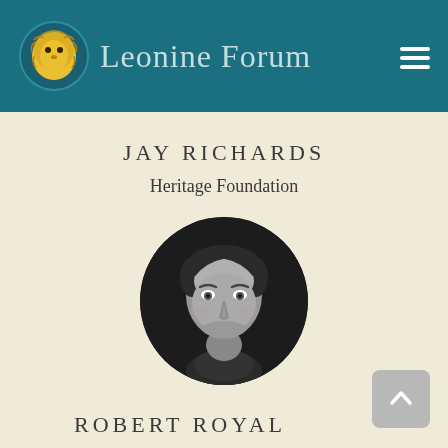Leonine Forum
JAY RICHARDS
Heritage Foundation
[Figure (photo): Black and white circular portrait photo of Jay Richards, a middle-aged man with dark hair, smiling slightly, wearing a suit.]
ROBERT ROYAL